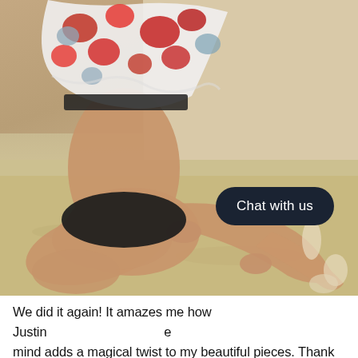[Figure (photo): Person sitting on sandy beach floor wearing black bikini bottom and floral red/white/grey patterned top, head cropped out of frame, legs extended forward with sand on skin. A dark rounded 'Chat with us' button overlay appears in the bottom-right of the photo.]
We did it again! It amazes me how Justin [obscured by button] mind adds a magical twist to my beautiful pieces. Thank you!